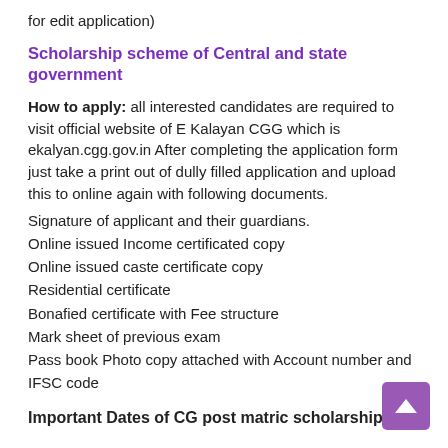for edit application)
Scholarship scheme of Central and state government
How to apply: all interested candidates are required to visit official website of E Kalayan CGG which is ekalyan.cgg.gov.in After completing the application form just take a print out of dully filled application and upload this to online again with following documents.
Signature of applicant and their guardians.
Online issued Income certificated copy
Online issued caste certificate copy
Residential certificate
Bonafied certificate with Fee structure
Mark sheet of previous exam
Pass book Photo copy attached with Account number and IFSC code
Important Dates of CG post matric scholarship